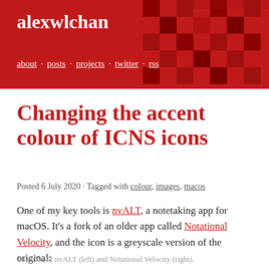alexwlchan
about · posts · projects · twitter · rss
Changing the accent colour of ICNS icons
Posted 6 July 2020 · Tagged with colour, images, macos
One of my key tools is nvALT, a notetaking app for macOS. It's a fork of an older app called Notational Velocity, and the icon is a greyscale version of the original:
The icon of nvALT (left) and Notational Velocity (right).